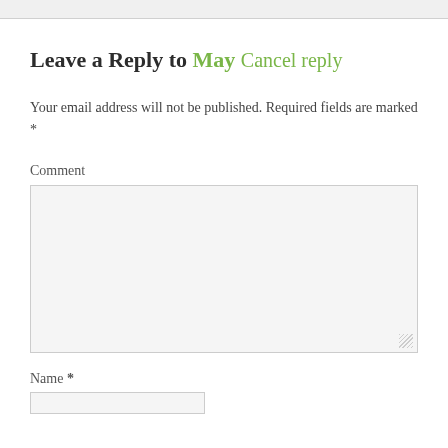Leave a Reply to May Cancel reply
Your email address will not be published. Required fields are marked *
Comment
Name *